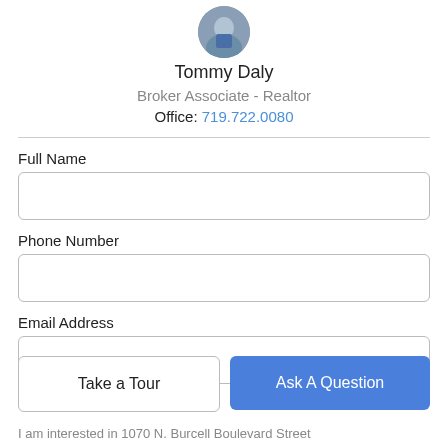[Figure (photo): Circular profile photo of agent Tommy Daly]
Tommy Daly
Broker Associate - Realtor
Office: 719.722.0080
Full Name
Phone Number
Email Address
Take a Tour
Ask A Question
I am interested in 1070 N. Burcell Boulevard Street